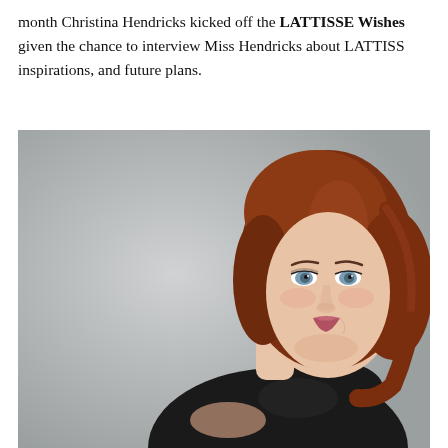month Christina Hendricks kicked off the LATTISSE Wishes given the chance to interview Miss Hendricks about LATTISS inspirations, and future plans.
[Figure (photo): Portrait photo of Christina Hendricks, a woman with reddish-brown wavy hair, blue eyes, wearing a black top, photographed against a light gray background.]